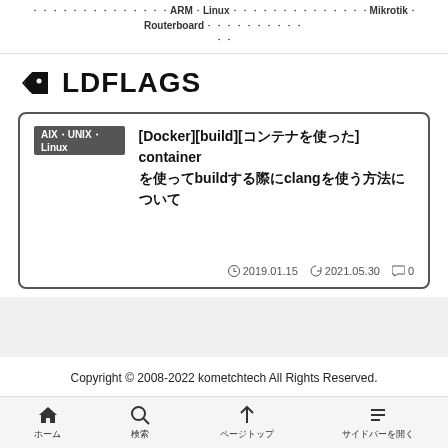ARMLinuxMikrotikRouterboard
LDFLAGS
[Docker][build][コンテナを使った] containerを使ってbuildする際にclangを使う方法について
AIX・UNIX・Linux  2019.01.15  2021.05.30  0
Copyright © 2008-2022 kometchtech All Rights Reserved.